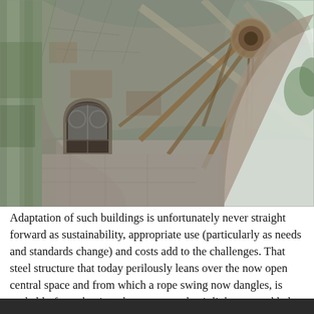[Figure (photo): Interior view looking upward at the vaulted stone ceiling of a Gothic-style building or chapel ruin. A steel structure with a central hub and radiating arms (possibly a former mechanism or rope swing support) hangs from the ribbed stone vault. A tall arched opening on the right lets in bright light. An arched window with tracery is visible on the left wall. The stonework shows signs of age, moss, and weathering.]
Adaptation of such buildings is unfortunately never straight forward as sustainability, appropriate use (particularly as needs and standards change) and costs add to the challenges. That steel structure that today perilously leans over the now open central space and from which a rope swing now dangles, is probably from the time that access and exit links were added